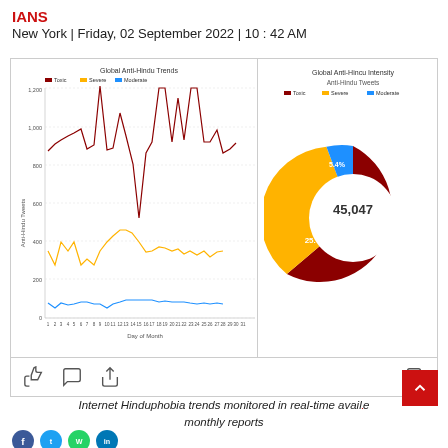IANS
New York | Friday, 02 September 2022 | 10 : 42 AM
[Figure (line-chart): Global Anti-Hindu Trends]
[Figure (donut-chart): Global Anti-Hincu Intensity]
Internet Hinduphobia trends monitored in real-time available monthly reports